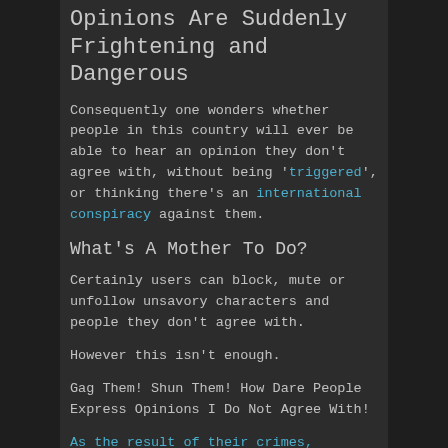Opinions Are Suddenly Frightening and Dangerous
Consequently one wonders whether people in this country will ever be able to hear an opinion they don't agree with, without being 'triggered', or thinking there's an international conspiracy against them.
What's A Mother To Do?
Certainly users can block, mute or unfollow unsavory characters and people they don't agree with.
However this isn't enough.
Gag Them! Shun Them! How Dare People Express Opinions I Do Not Agree With!
As the result of their crimes, offenders must be gagged. Even more...